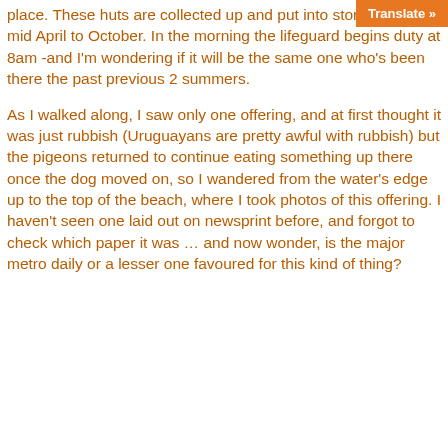place.  These huts are collected up and put into storage from mid April to October.  In the morning the lifeguard begins duty at 8am -and I'm wondering if it will be the same one who's been there the past previous 2 summers.
As I walked along,  I saw only one offering, and at first thought it was just rubbish (Uruguayans are pretty awful with rubbish) but the pigeons returned to continue eating something up there once the dog moved on, so I wandered from the water's edge up to the top of the beach, where I took photos of this offering.  I haven't seen one laid out on newsprint before, and forgot to check which paper it was …  and now wonder, is the major metro daily or a lesser one favoured for this kind of thing?